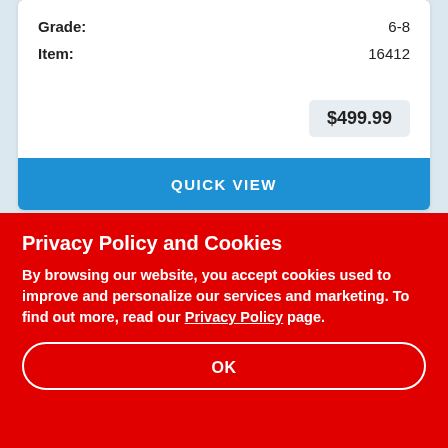Grade: 6-8
Item: 16412
$499.99
QUICK VIEW
[Figure (illustration): Partial product card showing a gray rounded product image placeholder and a small red tag element at the bottom]
Privacy Policy and Cookies
By browsing our website, you accept cookies used to improve and personalize our services and marketing. To find out more, read our Privacy Policy page.
OK